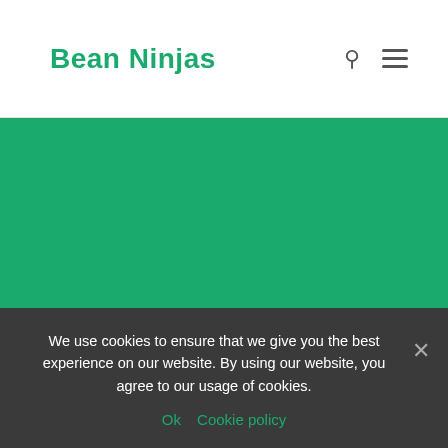Bean Ninjas
Outsourcer Relationship
Browse our Articles
We use cookies to ensure that we give you the best experience on our website. By using our website, you agree to our usage of cookies.
Ok   Cookie policy